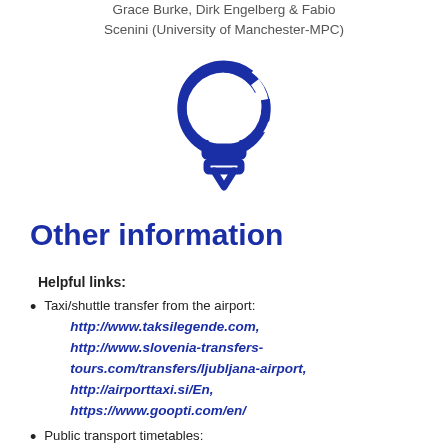Grace Burke, Dirk Engelberg & Fabio Scenini (University of Manchester-MPC)
[Figure (illustration): A light bulb icon outline in dark navy/blue color, representing an idea or information symbol.]
Other information
Helpful links:
Taxi/shuttle transfer from the airport: http://www.taksilegende.com, http://www.slovenia-transfers-tours.com/transfers/ljubljana-airport, http://airporttaxi.si/En, https://www.goopti.com/en/
Public transport timetables: